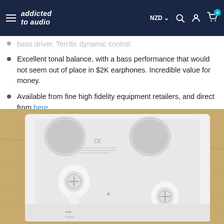addicted to audio | NZD | Search | Account | Cart
[truncated/partially visible item]
Excellent tonal balance, with a bass performance that would not seem out of place in $2K earphones. Incredible value for money.
Available from fine high fidelity equipment retailers, and direct from here.
Price: $235.00
[Figure (photo): White true wireless earphones shown in their open packaging/charging case, placed on a wooden surface. Two earbuds are visible along with the case interior.]